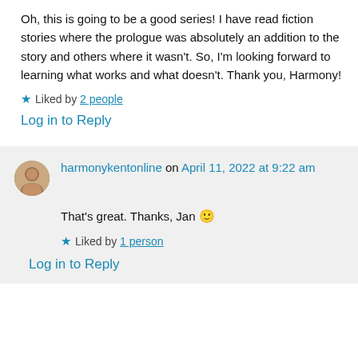Oh, this is going to be a good series! I have read fiction stories where the prologue was absolutely an addition to the story and others where it wasn't. So, I'm looking forward to learning what works and what doesn't. Thank you, Harmony!
Liked by 2 people
Log in to Reply
harmonykentonline on April 11, 2022 at 9:22 am
That's great. Thanks, Jan 🙂
Liked by 1 person
Log in to Reply